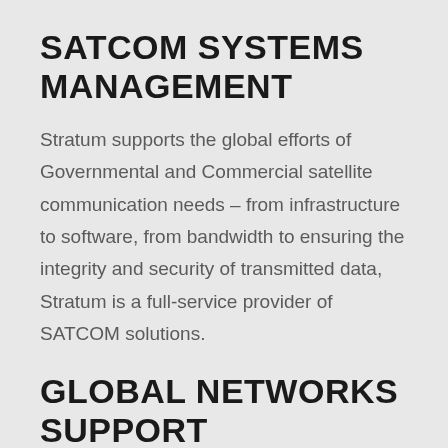SATCOM SYSTEMS MANAGEMENT
Stratum supports the global efforts of Governmental and Commercial satellite communication needs – from infrastructure to software, from bandwidth to ensuring the integrity and security of transmitted data, Stratum is a full-service provider of SATCOM solutions.
GLOBAL NETWORKS SUPPORT
Stratum provides support around the globe in managing and maintaining critical infrastructure and ensuring the availability of